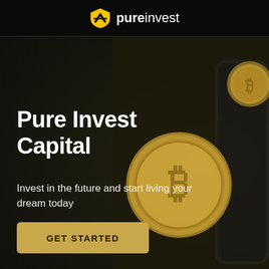[Figure (logo): PureInvest shield logo with yellow shield and white slash marks, followed by brand name 'pureinvest' in white text]
Pure Invest Capital
Invest in the future and start living your dream today
GET STARTED